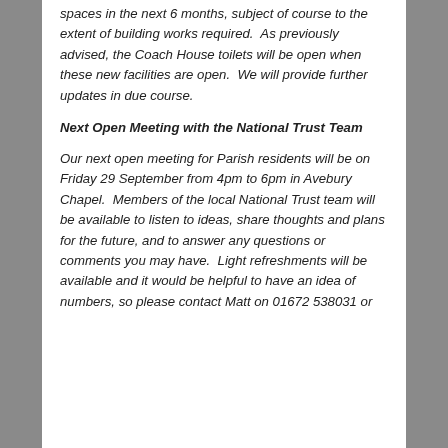spaces in the next 6 months, subject of course to the extent of building works required.  As previously advised, the Coach House toilets will be open when these new facilities are open.  We will provide further updates in due course.
Next Open Meeting with the National Trust Team
Our next open meeting for Parish residents will be on Friday 29 September from 4pm to 6pm in Avebury Chapel.  Members of the local National Trust team will be available to listen to ideas, share thoughts and plans for the future, and to answer any questions or comments you may have.  Light refreshments will be available and it would be helpful to have an idea of numbers, so please contact Matt on 01672 538031 or